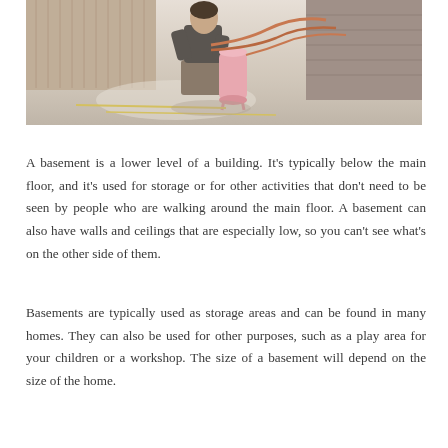[Figure (photo): A person kneeling on a construction/renovation floor working with pipes or tubing equipment, with a pink cylindrical tank visible, in what appears to be a building under construction or renovation with wooden wall panels in the background.]
A basement is a lower level of a building. It's typically below the main floor, and it's used for storage or for other activities that don't need to be seen by people who are walking around the main floor. A basement can also have walls and ceilings that are especially low, so you can't see what's on the other side of them.
Basements are typically used as storage areas and can be found in many homes. They can also be used for other purposes, such as a play area for your children or a workshop. The size of a basement will depend on the size of the home.